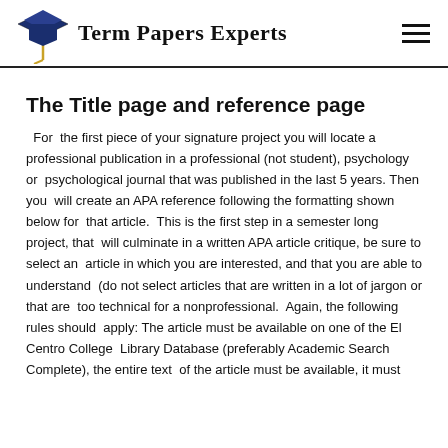Term Papers Experts
The Title page and reference page
For the first piece of your signature project you will locate a professional publication in a professional (not student), psychology or psychological journal that was published in the last 5 years. Then you will create an APA reference following the formatting shown below for that article. This is the first step in a semester long project, that will culminate in a written APA article critique, be sure to select an article in which you are interested, and that you are able to understand (do not select articles that are written in a lot of jargon or that are too technical for a nonprofessional. Again, the following rules should apply: The article must be available on one of the El Centro College Library Database (preferably Academic Search Complete), the entire text of the article must be available, it must